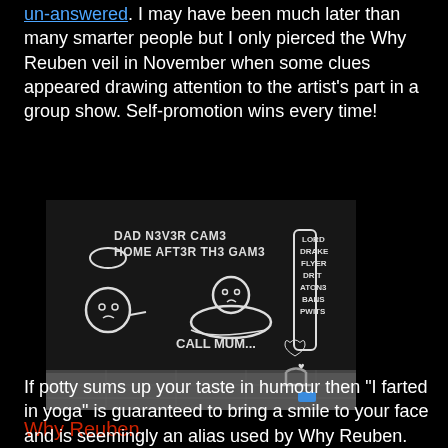un-answered. I may have been much later than many smarter people but I only pierced the Why Reuben veil in November when some clues appeared drawing attention to the artist's part in a group show. Self-promotion wins every time!
[Figure (photo): Graffiti on a dark brick wall featuring chalk-drawn cartoon characters. Text reads: 'DAD NEVER CAME HOME AFTER THE GAME', 'CALL MUM...', and on the right side stacked text: 'LORD DRAKE FLYER DRIT ATONE BANS PWITS'. Two sad cartoon blob characters are drawn. A metal bike rack is visible at bottom right on a wet pavement.]
Why Reuben
If potty sums up your taste in humour then "I farted in yoga" is guaranteed to bring a smile to your face and is seemingly an alias used by Why Reuben.